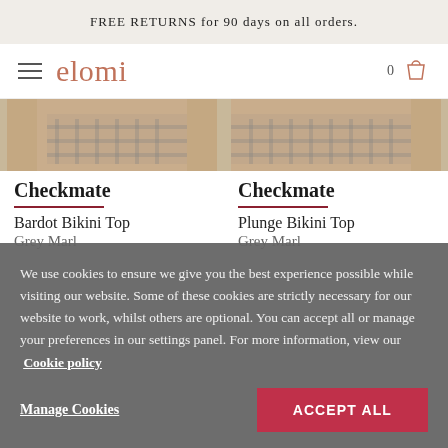FREE RETURNS for 90 days on all orders.
[Figure (screenshot): Elomi brand logo with hamburger menu and cart icon nav bar]
[Figure (photo): Two side-by-side product photos showing grey marl gingham bikini tops cropped at the waist]
Checkmate
Bardot Bikini Top
Grey Marl
Checkmate
Plunge Bikini Top
Grey Marl
We use cookies to ensure we give you the best experience possible while visiting our website. Some of these cookies are strictly necessary for our website to work, whilst others are optional. You can accept all or manage your preferences in our settings panel. For more information, view our Cookie policy
Manage Cookies
ACCEPT ALL